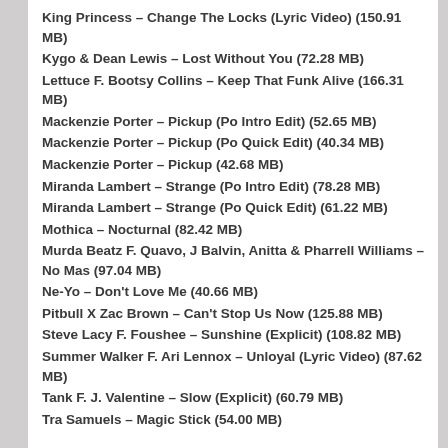King Princess – Change The Locks (Lyric Video) (150.91 MB)
Kygo & Dean Lewis – Lost Without You (72.28 MB)
Lettuce F. Bootsy Collins – Keep That Funk Alive (166.31 MB)
Mackenzie Porter – Pickup (Po Intro Edit) (52.65 MB)
Mackenzie Porter – Pickup (Po Quick Edit) (40.34 MB)
Mackenzie Porter – Pickup (42.68 MB)
Miranda Lambert – Strange (Po Intro Edit) (78.28 MB)
Miranda Lambert – Strange (Po Quick Edit) (61.22 MB)
Mothica – Nocturnal (82.42 MB)
Murda Beatz F. Quavo, J Balvin, Anitta & Pharrell Williams – No Mas (97.04 MB)
Ne-Yo – Don't Love Me (40.66 MB)
Pitbull X Zac Brown – Can't Stop Us Now (125.88 MB)
Steve Lacy F. Foushee – Sunshine (Explicit) (108.82 MB)
Summer Walker F. Ari Lennox – Unloyal (Lyric Video) (87.62 MB)
Tank F. J. Valentine – Slow (Explicit) (60.79 MB)
Tra Samuels – Magic Stick (54.00 MB)